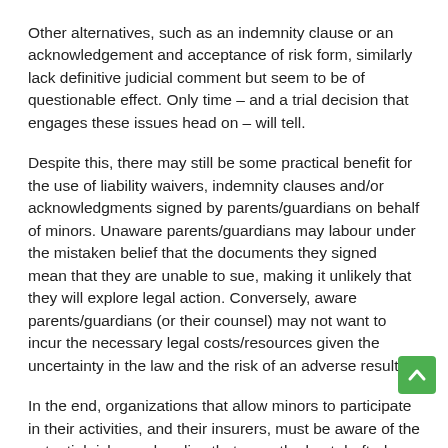Other alternatives, such as an indemnity clause or an acknowledgement and acceptance of risk form, similarly lack definitive judicial comment but seem to be of questionable effect. Only time – and a trial decision that engages these issues head on – will tell.
Despite this, there may still be some practical benefit for the use of liability waivers, indemnity clauses and/or acknowledgments signed by parents/guardians on behalf of minors. Unaware parents/guardians may labour under the mistaken belief that the documents they signed mean that they are unable to sue, making it unlikely that they will explore legal action. Conversely, aware parents/guardians (or their counsel) may not want to incur the necessary legal costs/resources given the uncertainty in the law and the risk of an adverse result.
In the end, organizations that allow minors to participate in their activities, and their insurers, must be aware of the potential risks, and realize that even the best drafted liability waiver, indemnification clause and acknowledgment of risk